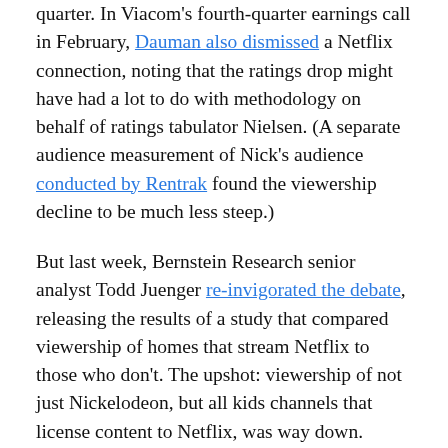quarter. In Viacom's fourth-quarter earnings call in February, Dauman also dismissed a Netflix connection, noting that the ratings drop might have had a lot to do with methodology on behalf of ratings tabulator Nielsen. (A separate audience measurement of Nick's audience conducted by Rentrak found the viewership decline to be much less steep.)
But last week, Bernstein Research senior analyst Todd Juenger re-invigorated the debate, releasing the results of a study that compared viewership of homes that stream Netflix to those who don't. The upshot: viewership of not just Nickelodeon, but all kids channels that license content to Netflix, was way down.
The outcome of this debate could have impact on Netflix's future content deals, with media companies like Viacom possibly second-guessing future licensed streaming deals based on their impact to linear television